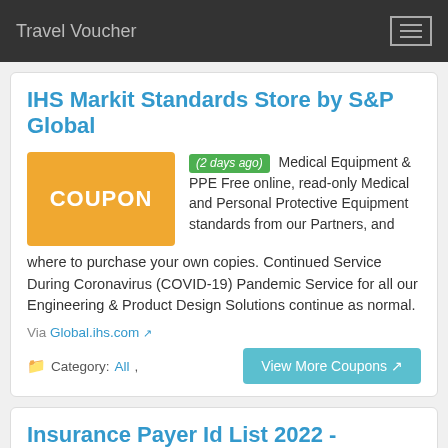Travel Voucher
IHS Markit Standards Store by S&P Global
(2 days ago) Medical Equipment & PPE Free online, read-only Medical and Personal Protective Equipment standards from our Partners, and where to purchase your own copies. Continued Service During Coronavirus (COVID-19) Pandemic Service for all our Engineering & Product Design Solutions continue as normal.
Via Global.ihs.com
Category: All,
Insurance Payer Id List 2022 - Medical Billing RCM